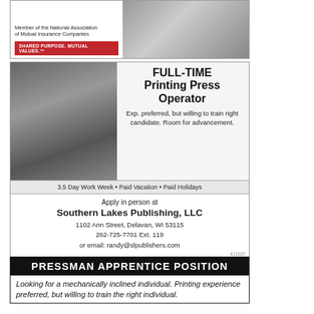[Figure (illustration): Top advertisement with insurance company logo and member text on left, photo of person on right. Red banner reading SHARED PURPOSE. MUTUAL VALUES.]
[Figure (photo): Job advertisement for Full-Time Printing Press Operator at Southern Lakes Publishing LLC. Left side shows black and white photo of person reading newspaper. Right side has job title and description text.]
Exp. preferred, but willing to train right candidate. Room for advancement.
3.5 Day Work Week • Paid Vacation • Paid Holidays
Apply in person at Southern Lakes Publishing, LLC
1102 Ann Street, Delavan, WI 53115
262-725-7701 Ext. 119
or email: randy@slpublishers.com
[Figure (illustration): Black background advertisement header reading PRESSMAN APPRENTICE POSITION. White body text reading: Looking for a mechanically inclined individual. Printing experience preferred, but willing to train the right individual.]